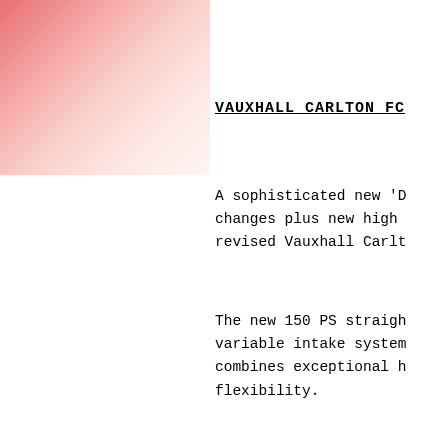[Figure (illustration): Pink to white gradient decorative block in the top-left corner of the page]
VAUXHALL CARLTON FC
A sophisticated new 'D changes plus new high revised Vauxhall Carlt
The new 150 PS straigh variable intake system combines exceptional h flexibility.